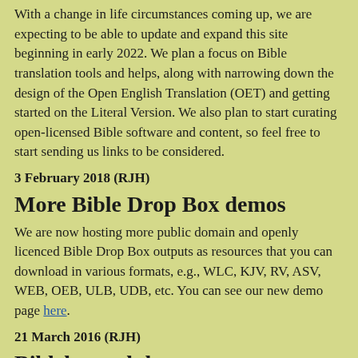With a change in life circumstances coming up, we are expecting to be able to update and expand this site beginning in early 2022. We plan a focus on Bible translation tools and helps, along with narrowing down the design of the Open English Translation (OET) and getting started on the Literal Version. We also plan to start curating open-licensed Bible software and content, so feel free to start sending us links to be considered.
3 February 2018 (RJH)
More Bible Drop Box demos
We are now hosting more public domain and openly licenced Bible Drop Box outputs as resources that you can download in various formats, e.g., WLC, KJV, RV, ASV, WEB, OEB, ULB, UDB, etc. You can see our new demo page here.
21 March 2016 (RJH)
Biblelator alpha
Finally we are able to release an early alpha version of the Biblelator USFM Bible editor software that should give an idea...